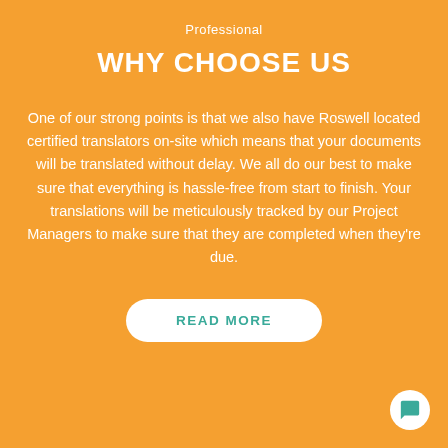Professional
WHY CHOOSE US
One of our strong points is that we also have Roswell located certified translators on-site which means that your documents will be translated without delay. We all do our best to make sure that everything is hassle-free from start to finish. Your translations will be meticulously tracked by our Project Managers to make sure that they are completed when they're due.
READ MORE